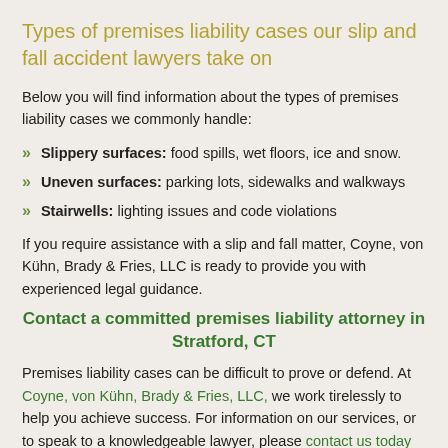Types of premises liability cases our slip and fall accident lawyers take on
Below you will find information about the types of premises liability cases we commonly handle:
Slippery surfaces: food spills, wet floors, ice and snow.
Uneven surfaces: parking lots, sidewalks and walkways
Stairwells: lighting issues and code violations
If you require assistance with a slip and fall matter, Coyne, von Kühn, Brady & Fries, LLC is ready to provide you with experienced legal guidance.
Contact a committed premises liability attorney in Stratford, CT
Premises liability cases can be difficult to prove or defend. At Coyne, von Kühn, Brady & Fries, LLC, we work tirelessly to help you achieve success. For information on our services, or to speak to a knowledgeable lawyer, please contact us today online or by phone at 203-378-7100.